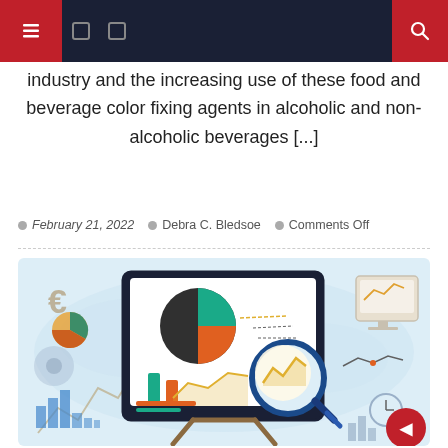industry and the increasing use of these food and beverage color fixing agents in alcoholic and non-alcoholic beverages [...]
February 21, 2022   Debra C. Bledsoe   Comments Off
[Figure (illustration): Business analytics illustration showing a presentation board with pie charts, bar charts, and a magnifying glass overlaying a line chart, surrounded by financial icons including a Euro symbol, gears, arrows, a monitor with a waveform, a clock, and bar graphs on a light blue world map background. A red circular button appears in the bottom-right corner.]